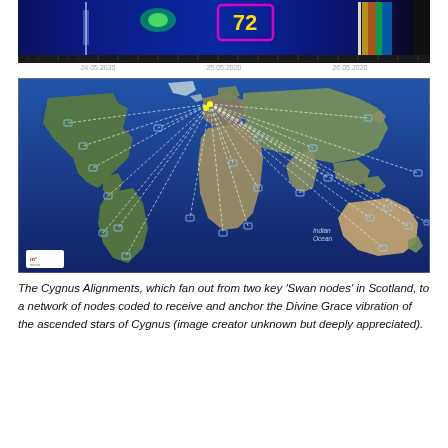[Figure (other): Spectrogram/radio frequency chart showing signal intensity over time from approximately 24.05.2020 to 26.05.2020, with a highlighted box showing the number '72' in yellow. Bright green and yellow peaks visible against a blue background.]
[Figure (map): World map (satellite view) showing 'The Cygnus Alignments' — white dotted lines fanning out from two key 'Swan nodes' in Scotland to numerous nodes across the globe, with small labeled markers. Logo in bottom-left corner.]
The Cygnus Alignments, which fan out from two key 'Swan nodes' in Scotland, to a network of nodes coded to receive and anchor the Divine Grace vibration of the ascended stars of Cygnus (image creator unknown but deeply appreciated).